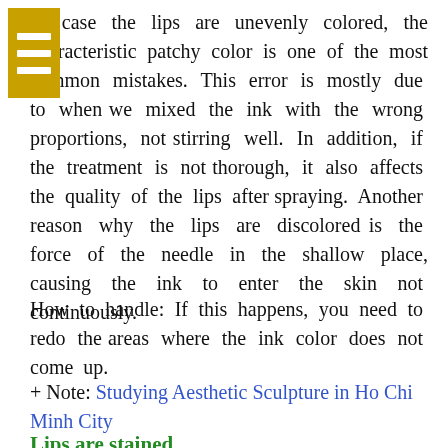In case the lips are unevenly colored, the characteristic patchy color is one of the most common mistakes. This error is mostly due to when we mixed the ink with the wrong proportions, not stirring well. In addition, if the treatment is not thorough, it also affects the quality of the lips after spraying. Another reason why the lips are discolored is the force of the needle in the shallow place, causing the ink to enter the skin not continuously.
How to handle: If this happens, you need to redo the areas where the ink color does not come up.
+ Note: Studying Aesthetic Sculpture in Ho Chi Minh City
Lips are stained
The ink color smeared outside the border makes the lips less charming, affecting the overall face. This